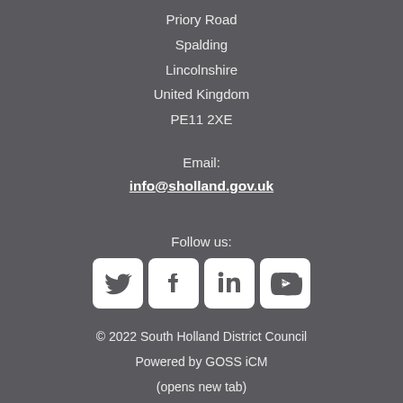Priory Road
Spalding
Lincolnshire
United Kingdom
PE11 2XE
Email:
info@sholland.gov.uk
Follow us:
[Figure (other): Social media icons for Twitter, Facebook, LinkedIn, and YouTube]
© 2022 South Holland District Council
Powered by GOSS iCM
(opens new tab)